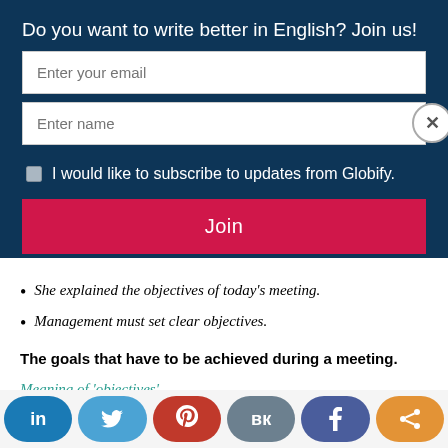Do you want to write better in English? Join us!
Enter your email
Enter name
I would like to subscribe to updates from Globify.
Join
She explained the objectives of today's meeting.
Management must set clear objectives.
The goals that have to be achieved during a meeting.
Meaning of 'objectives'
[Figure (other): Social sharing buttons row: LinkedIn, Twitter, Pinterest, VK, Facebook, and a general share button]